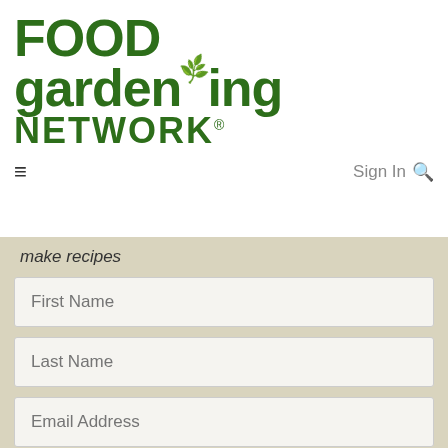[Figure (logo): Food Gardening Network logo with green bold text and a small leaf accent above the letter i in gardening]
Sign In 🔍
make recipes
First Name
Last Name
Email Address
Get Your FREEBIE Now!